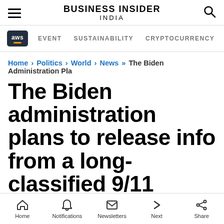BUSINESS INSIDER INDIA
EVENT  SUSTAINABILITY  CRYPTOCURRENCY
Home > Politics > World > News >> The Biden Administration Pla
The Biden administration plans to release info from a long-classified 9/11 dossier after victims' families said he
Home  Notifications  Newsletters  Next  Share